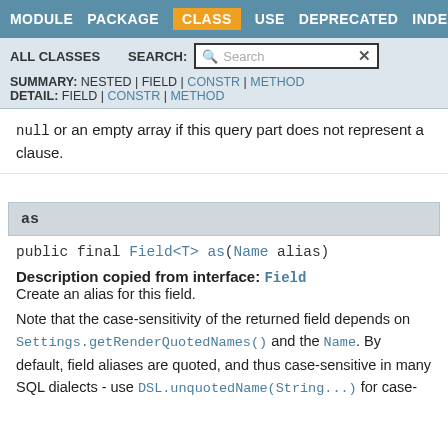MODULE  PACKAGE  CLASS  USE  DEPRECATED  INDEX  HELP
ALL CLASSES   SEARCH:  [Search]
SUMMARY: NESTED | FIELD | CONSTR | METHOD
DETAIL: FIELD | CONSTR | METHOD
null or an empty array if this query part does not represent a clause.
as
public final Field<T> as(Name alias)
Description copied from interface: Field
Create an alias for this field.
Note that the case-sensitivity of the returned field depends on Settings.getRenderQuotedNames() and the Name. By default, field aliases are quoted, and thus case-sensitive in many SQL dialects - use DSL.unquotedName(String...) for case-